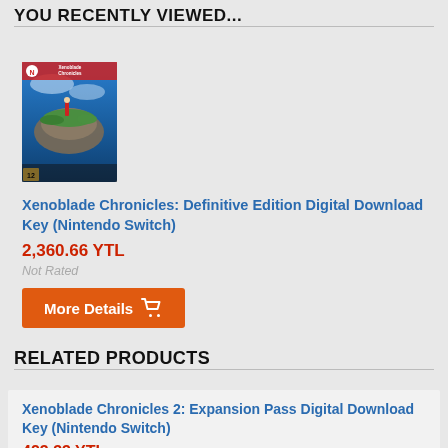YOU RECENTLY VIEWED...
[Figure (photo): Xenoblade Chronicles Definitive Edition Nintendo Switch game cover art showing a figure standing on a giant creature above clouds]
Xenoblade Chronicles: Definitive Edition Digital Download Key (Nintendo Switch)
2,360.66 YTL
Not Rated
More Details
RELATED PRODUCTS
Xenoblade Chronicles 2: Expansion Pass Digital Download Key (Nintendo Switch)
423.33 YTL
Not Rated